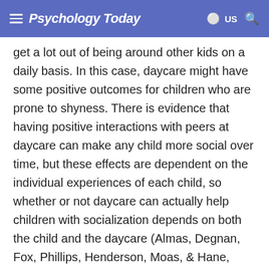Psychology Today — US
get a lot out of being around other kids on a daily basis. In this case, daycare might have some positive outcomes for children who are prone to shyness. There is evidence that having positive interactions with peers at daycare can make any child more social over time, but these effects are dependent on the individual experiences of each child, so whether or not daycare can actually help children with socialization depends on both the child and the daycare (Almas, Degnan, Fox, Phillips, Henderson, Moas, & Hane, 2011).
There is no easy answer to the question of who should care for your children. And whether you